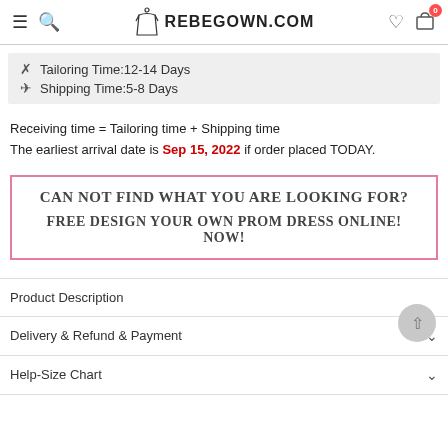REBEGOWN.COM
Tailoring Time:12-14 Days
Shipping Time:5-8 Days
Receiving time = Tailoring time + Shipping time
The earliest arrival date is Sep 15, 2022 if order placed TODAY.
CAN NOT FIND WHAT YOU ARE LOOKING FOR?
FREE DESIGN YOUR OWN PROM DRESS ONLINE! NOW!
Product Description
Delivery & Refund & Payment
Help-Size Chart